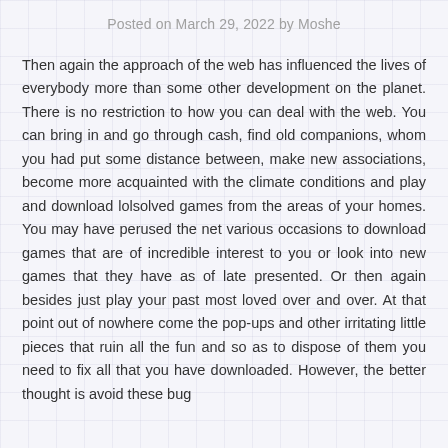Posted on March 29, 2022 by Moshe
Then again the approach of the web has influenced the lives of everybody more than some other development on the planet. There is no restriction to how you can deal with the web. You can bring in and go through cash, find old companions, whom you had put some distance between, make new associations, become more acquainted with the climate conditions and play and download lolsolved games from the areas of your homes. You may have perused the net various occasions to download games that are of incredible interest to you or look into new games that they have as of late presented. Or then again besides just play your past most loved over and over. At that point out of nowhere come the pop-ups and other irritating little pieces that ruin all the fun and so as to dispose of them you need to fix all that you have downloaded. However, the better thought is avoid these bug